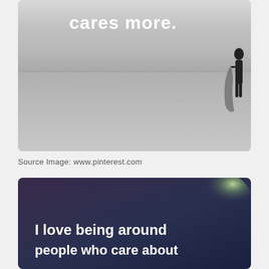[Figure (photo): Black and white photo of a beach scene with a person carrying a surfboard on the right edge. White bold text reads 'cares more.' overlaid at the top center.]
Source Image: www.pinterest.com
[Figure (photo): Dark purple-blue gradient background with a glowing light in upper right. White bold text reads 'I love being around people who care about']